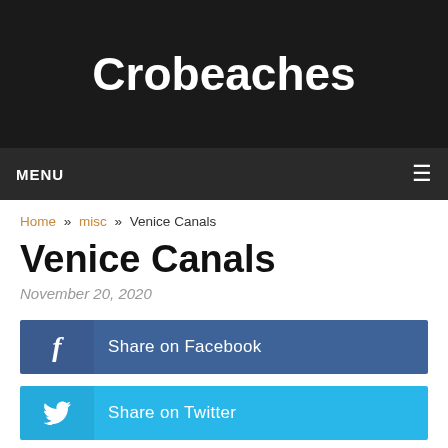Crobeaches
MENU
Home » misc » Venice Canals
Venice Canals
November 20, 2020
[Figure (screenshot): Share on Facebook button (blue)]
[Figure (screenshot): Share on Twitter button (light blue)]
[Figure (screenshot): Share on Pinterest button (red, partially visible)]